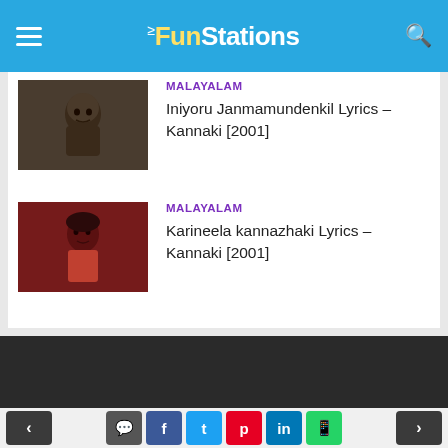TheFunStations
MALAYALAM
Iniyoru Janmamundenkil Lyrics – Kannaki [2001]
MALAYALAM
Karineela kannazhaki Lyrics – Kannaki [2001]
< comment f t p in whatsapp >